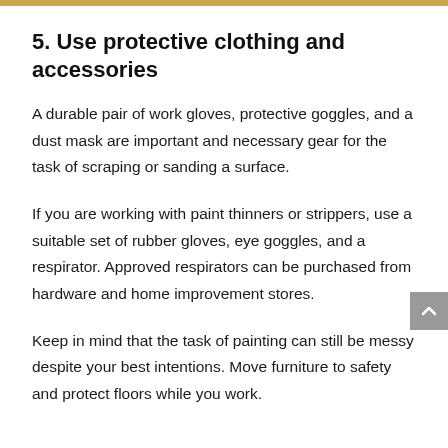5. Use protective clothing and accessories
A durable pair of work gloves, protective goggles, and a dust mask are important and necessary gear for the task of scraping or sanding a surface.
If you are working with paint thinners or strippers, use a suitable set of rubber gloves, eye goggles, and a respirator. Approved respirators can be purchased from hardware and home improvement stores.
Keep in mind that the task of painting can still be messy despite your best intentions. Move furniture to safety and protect floors while you work.